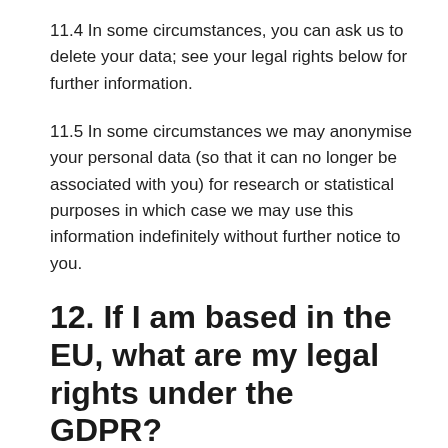11.4 In some circumstances, you can ask us to delete your data; see your legal rights below for further information.
11.5 In some circumstances we may anonymise your personal data (so that it can no longer be associated with you) for research or statistical purposes in which case we may use this information indefinitely without further notice to you.
12. If I am based in the EU, what are my legal rights under the GDPR?
12.1 If the General Data Protection Regulation applies to you because you are in the European